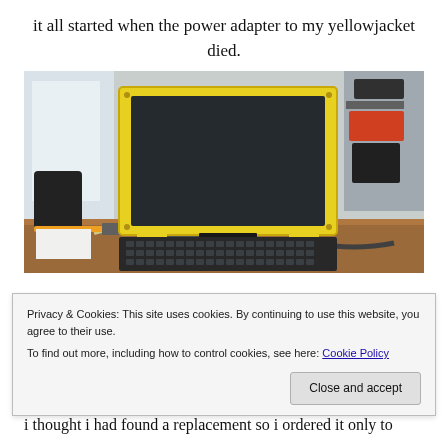it all started when the power adapter to my yellowjacket died.
[Figure (photo): A yellow laptop (yellowjacket) open on a wooden desk, showing a dark screen. Various items visible in the background including a mug, cables, and tools on surrounding surfaces.]
Privacy & Cookies: This site uses cookies. By continuing to use this website, you agree to their use.
To find out more, including how to control cookies, see here: Cookie Policy
Close and accept
i thought i had found a replacement so i ordered it only to